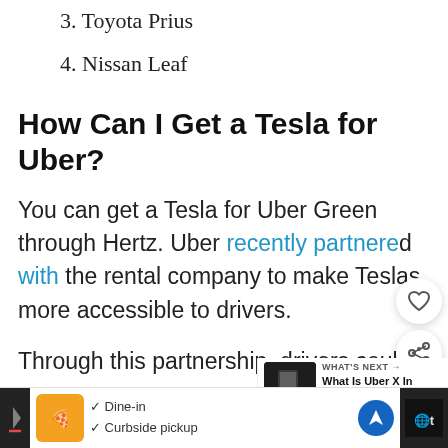3. Toyota Prius
4. Nissan Leaf
How Can I Get a Tesla for Uber?
You can get a Tesla for Uber Green through Hertz. Uber recently partnered with the rental company to make Teslas more accessible to drivers.
Through this partnership, drivers could re
[Figure (screenshot): What's Next panel with thumbnail showing a phone and text 'What Is Uber X In 2022? (Ho...']
[Figure (screenshot): Ad bar at bottom with restaurant logo, Dine-in and Curbside pickup checkmarks, navigation icon, and partial dark panels on sides]